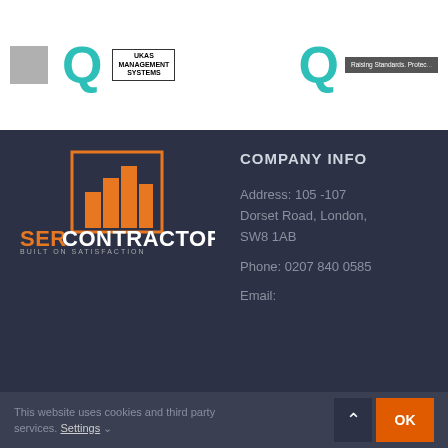[Figure (logo): Top banner with gray box logo, teal Q mark, UKAS certification box, another teal Q mark, and 'Raising Standards. Protec...' gray badge]
[Figure (logo): SER Contractor logo — orange building silhouette in orange square border, with text 'SERCONTRACTOR BUILT ON SATISFACTION']
COMPANY INFO
Address: 105 -107 Dorset Road, London, SW8 1AB
Phone: 0207 840 0585
Email:
This website uses cookies and third party services. Settings